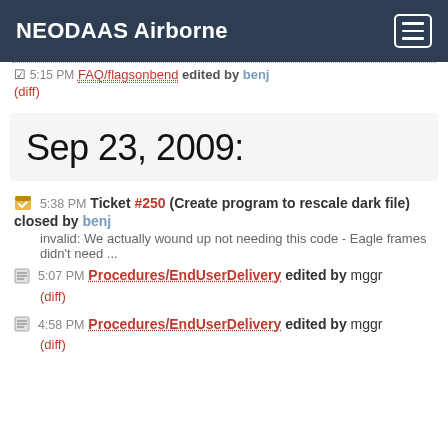NEODAAS Airborne
5:15 PM FAQ/flagsonbend edited by benj (diff)
Sep 23, 2009:
5:38 PM Ticket #250 (Create program to rescale dark file) closed by benj
invalid: We actually wound up not needing this code - Eagle frames didn't need ...
5:07 PM Procedures/EndUserDelivery edited by mggr
(diff)
4:58 PM Procedures/EndUserDelivery edited by mggr
(diff)